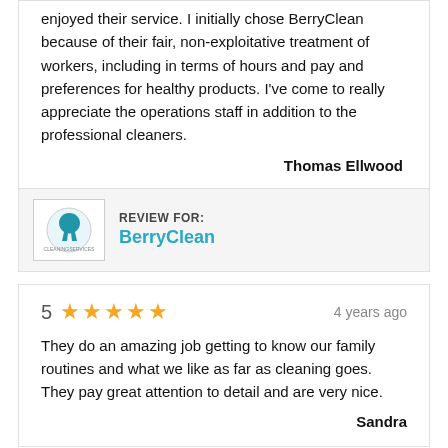enjoyed their service. I initially chose BerryClean because of their fair, non-exploitative treatment of workers, including in terms of hours and pay and preferences for healthy products. I've come to really appreciate the operations staff in addition to the professional cleaners.
Thomas Ellwood
REVIEW FOR: BerryClean
5 ★★★★★   4 years ago
They do an amazing job getting to know our family routines and what we like as far as cleaning goes. They pay great attention to detail and are very nice.
Sandra